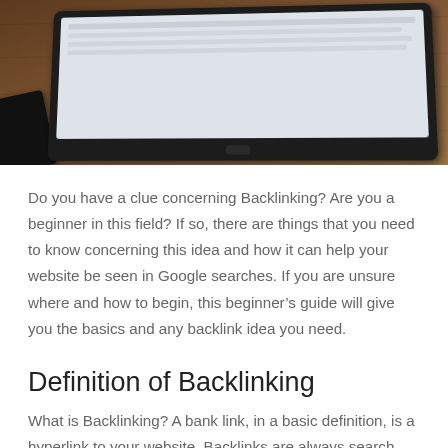[Figure (photo): Photo of a tablet and smartphone on a wooden desk, viewed from above at an angle. The tablet shows a white screen and has a dark frame. A black smartphone is partially visible at the left edge.]
Do you have a clue concerning Backlinking? Are you a beginner in this field? If so, there are things that you need to know concerning this idea and how it can help your website be seen in Google searches. If you are unsure where and how to begin, this beginner's guide will give you the basics and any backlink idea you need.
Definition of Backlinking
What is Backlinking? A bank link, in a basic definition, is a hyperlink to your website. Backlinks are always search engine optimized to make your website rank quickly ion Google and other search engine searches